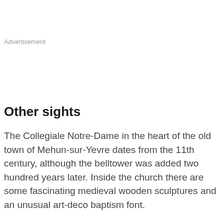Advertisement
Other sights
The Collegiale Notre-Dame in the heart of the old town of Mehun-sur-Yevre dates from the 11th century, although the belltower was added two hundred years later. Inside the church there are some fascinating medieval wooden sculptures and an unusual art-deco baptism font.